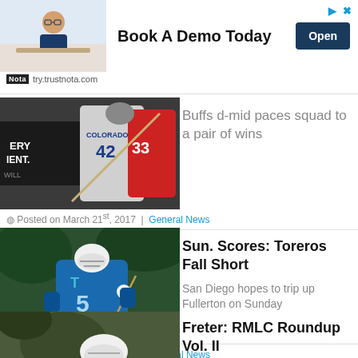[Figure (other): Ad banner with photo of man in glasses at desk, text 'Book A Demo Today', Open button, and try.trustnota.com URL]
[Figure (photo): Lacrosse players including Colorado #12 in action]
Buffs d-mid paces squad to a pair of wins
Posted on March 21st, 2017 | General News
[Figure (photo): Lacrosse player #5 in blue jersey running with ball]
Sun. Scores: Toreros Fall Short
San Diego hopes to trip up Fullerton on Sunday
Posted on March 19th, 2017 | General News
[Figure (photo): Lacrosse player with white helmet]
Freter: RMLC Roundup Vol. II